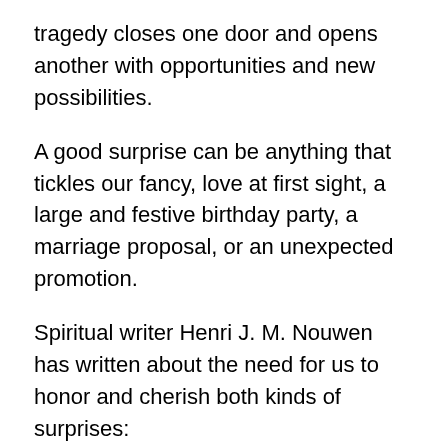tragedy closes one door and opens another with opportunities and new possibilities.
A good surprise can be anything that tickles our fancy, love at first sight, a large and festive birthday party, a marriage proposal, or an unexpected promotion.
Spiritual writer Henri J. M. Nouwen has written about the need for us to honor and cherish both kinds of surprises:
"Let's not be afraid to receive each day's surprise, whether it comes to us as a sorrow or a joy. It will open a new place in our hearts, a place where we can welcome new friends and celebrate our shared humanity."